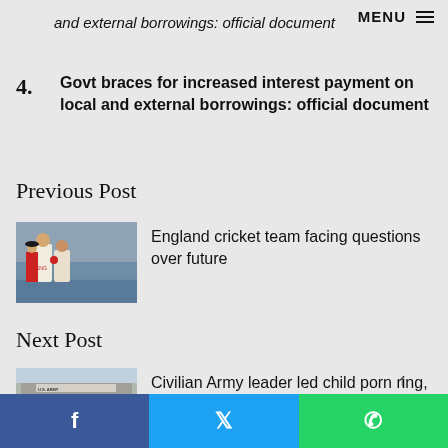MENU
and external borrowings: official document
4. Govt braces for increased interest payment on local and external borrowings: official document
Previous Post
[Figure (photo): England cricket players on field]
England cricket team facing questions over future
Next Post
[Figure (photo): Building with US Army signage]
Civilian Army leader led child porn ring, said US
Facebook | Twitter | WhatsApp share buttons